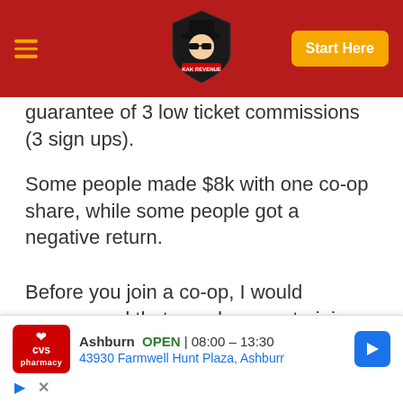Navigation header with logo and Start Here button
guarantee of 3 low ticket commissions (3 sign ups).
Some people made $8k with one co-op share, while some people got a negative return.
Before you join a co-op, I would recommend that you do some training in the club, and see how you can maximize your co-op traffic.
[Figure (screenshot): CVS Pharmacy advertisement showing Ashburn location OPEN 08:00-13:30, address 43930 Farmwell Hunt Plaza, Ashburn, with navigation arrow icon, play button and close button icons]